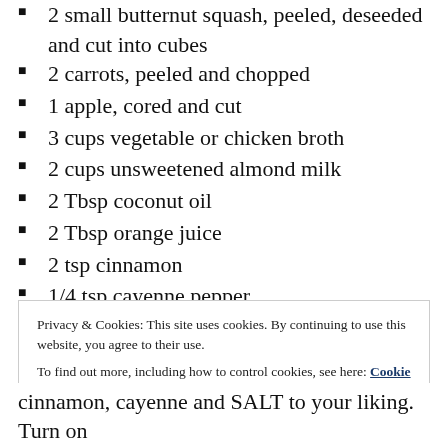2 small butternut squash, peeled, deseeded and cut into cubes
2 carrots, peeled and chopped
1 apple, cored and cut
3 cups vegetable or chicken broth
2 cups unsweetened almond milk
2 Tbsp coconut oil
2 Tbsp orange juice
2 tsp cinnamon
1/4 tsp cayenne pepper
2 tsp salt
1 tsp pepper
Privacy & Cookies: This site uses cookies. By continuing to use this website, you agree to their use. To find out more, including how to control cookies, see here: Cookie Policy
cinnamon, cayenne and SALT to your liking. Turn on